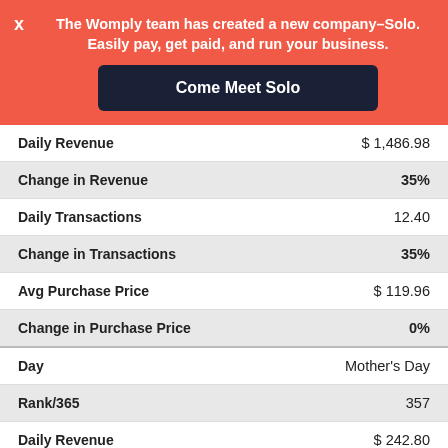The Womply team has created a new company–Solo. Easily pay, get paid, and run your business.
Come Meet Solo
| Metric | Value |
| --- | --- |
| Daily Revenue | $ 1,486.98 |
| Change in Revenue | 35% |
| Daily Transactions | 12.40 |
| Change in Transactions | 35% |
| Avg Purchase Price | $ 119.96 |
| Change in Purchase Price | 0% |
| Day | Mother's Day |
| Rank/365 | 357 |
| Daily Revenue | $ 242.80 |
| Change in Revenue | -78% |
| Daily Transactions | 3.67 |
| Change in Transactions | -60% |